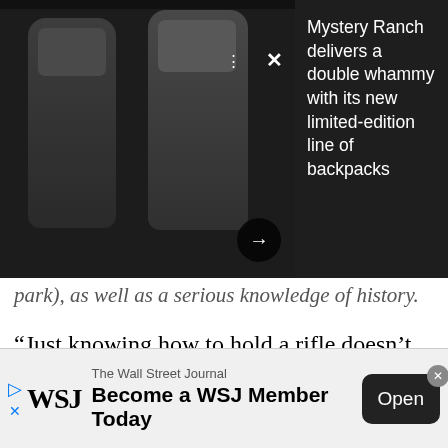[Figure (photo): Advertisement overlay showing two military-style backpacks against a dark background with text: 'Mystery Ranch delivers a double whammy with its new limited-edition line of backpacks']
park), as well as a serious knowledge of history.
“Just knowing how to hold a rifle doesn’t cut it,” says Dever.
[Figure (photo): Advertisement for Concerned Veterans for America (CVA) showing logo and dark military imagery]
[Figure (screenshot): The Wall Street Journal banner ad: 'Become a WSJ Member Today' with Open button]